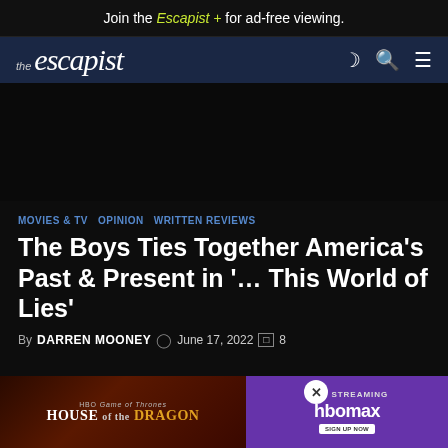Join the Escapist + for ad-free viewing.
[Figure (logo): The Escapist logo with navigation icons (moon/dark mode, search, hamburger menu) on dark navy background]
[Figure (other): Ad space — dark empty area]
MOVIES & TV   OPINION   WRITTEN REVIEWS
The Boys Ties Together America's Past & Present in '… This World of Lies'
By DARREN MOONEY   June 17, 2022   8
This discussion and review contains spoilers for The Boys s… on This W…
[Figure (screenshot): House of the Dragon advertisement overlay — HBO Max now streaming banner with promotional image]